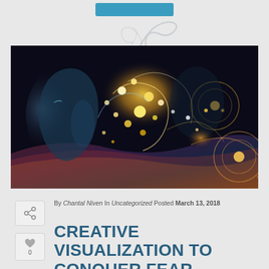[Figure (illustration): Decorative swirl/smoke graphic at top of page, partially visible, light grey on grey background]
[Figure (photo): Digital artwork showing two human face profiles (one facing left, one in background) with glowing particles, colorful light streams, and energy orbs on a dark background representing creative visualization or mind/brain concepts]
By Chantal Niven In Uncategorized Posted March 13, 2018
CREATIVE VISUALIZATION TO CONQUER FEAR